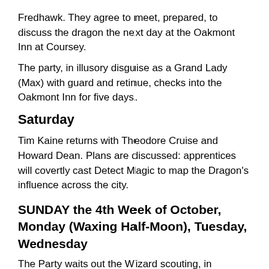Fredhawk. They agree to meet, prepared, to discuss the dragon the next day at the Oakmont Inn at Coursey.
The party, in illusory disguise as a Grand Lady (Max) with guard and retinue, checks into the Oakmont Inn for five days.
Saturday
Tim Kaine returns with Theodore Cruise and Howard Dean. Plans are discussed: apprentices will covertly cast Detect Magic to map the Dragon's influence across the city.
SUNDAY the 4th Week of October, Monday (Waxing Half-Moon), Tuesday, Wednesday
The Party waits out the Wizard scouting, in disguise in Coursey. Graene buys a new outfit.
The Wizards of the Institute quote a price of 10,000 silver to restore each Petrified party member. Graene loses part of her deposit, a few diamonds from a